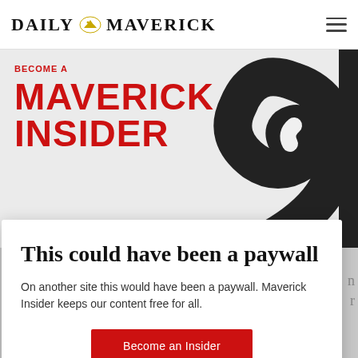DAILY MAVERICK
[Figure (logo): Daily Maverick logo with eagle illustration and hamburger menu icon]
[Figure (illustration): Maverick Insider promotional banner with large red text reading BECOME A MAVERICK INSIDER on light grey background, with large black swirl/spiral graphic on right side]
This could have been a paywall
On another site this would have been a paywall. Maverick Insider keeps our content free for all.
Become an Insider
[Figure (screenshot): Partial blue banner at bottom reading Meet with SA's top business schools]